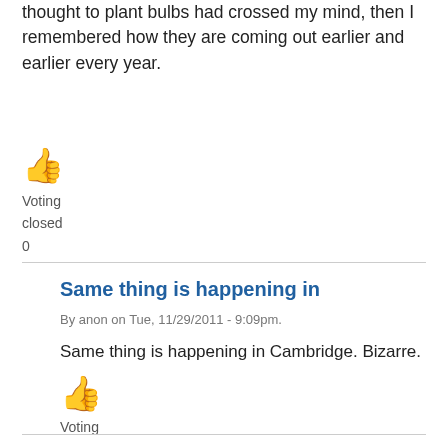thought to plant bulbs had crossed my mind, then I remembered how they are coming out earlier and earlier every year.
[Figure (illustration): Thumbs up icon in orange/yellow color]
Voting
closed
0
Same thing is happening in
By anon on Tue, 11/29/2011 - 9:09pm.
Same thing is happening in Cambridge. Bizarre.
[Figure (illustration): Thumbs up icon in orange/yellow color]
Voting
closed
0
Rhododendrons, too